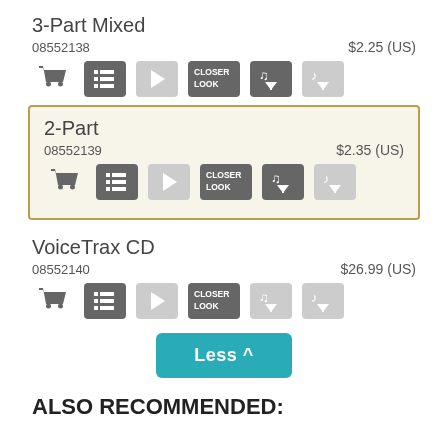3-Part Mixed
08552138   $2.25 (US)
[Figure (screenshot): Row of action icons: cart, list, play, Closer Look, music download, audio download]
2-Part
08552139   $2.35 (US)
[Figure (screenshot): Row of action icons inside highlighted box: cart, list, play, Closer Look, music download, audio download]
VoiceTrax CD
08552140   $26.99 (US)
[Figure (screenshot): Row of action icons: cart, list, play, Closer Look, music download (greyed), audio download (greyed)]
Less ^
ALSO RECOMMENDED: